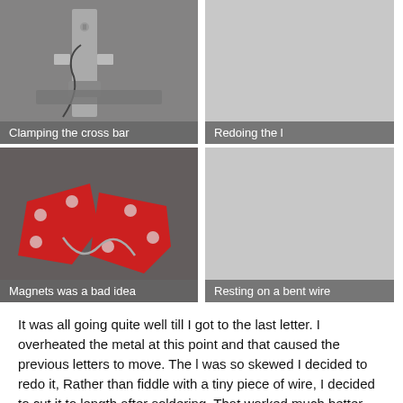[Figure (photo): Photo of a metal cross bar being clamped in a workshop vise, with caption 'Clamping the cross bar']
[Figure (photo): Gray placeholder area with caption 'Redoing the l']
[Figure (photo): Photo of two red magnetic welding clamps holding a bent wire, with caption 'Magnets was a bad idea']
[Figure (photo): Gray placeholder area with caption 'Resting on a bent wire']
It was all going quite well till I got to the last letter. I overheated the metal at this point and that caused the previous letters to move. The l was so skewed I decided to redo it, Rather than fiddle with a tiny piece of wire, I decided to cut it to length after soldering. That worked much better and I think I would leave a “leg” on the components next time I do this kind of technique.